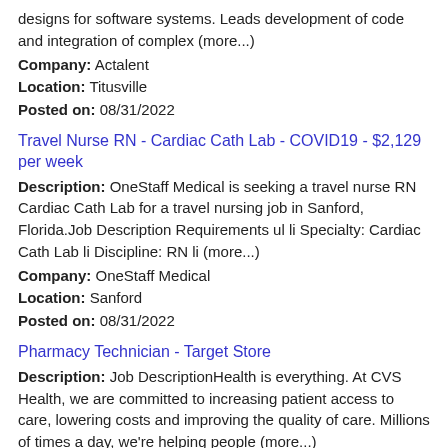designs for software systems. Leads development of code and integration of complex (more...)
Company: Actalent
Location: Titusville
Posted on: 08/31/2022
Travel Nurse RN - Cardiac Cath Lab - COVID19 - $2,129 per week
Description: OneStaff Medical is seeking a travel nurse RN Cardiac Cath Lab for a travel nursing job in Sanford, Florida.Job Description Requirements ul li Specialty: Cardiac Cath Lab li Discipline: RN li (more...)
Company: OneStaff Medical
Location: Sanford
Posted on: 08/31/2022
Pharmacy Technician - Target Store
Description: Job DescriptionHealth is everything. At CVS Health, we are committed to increasing patient access to care, lowering costs and improving the quality of care. Millions of times a day, we're helping people (more...)
Company: CVS Health
Location: Sanford
Posted on: 08/31/2022